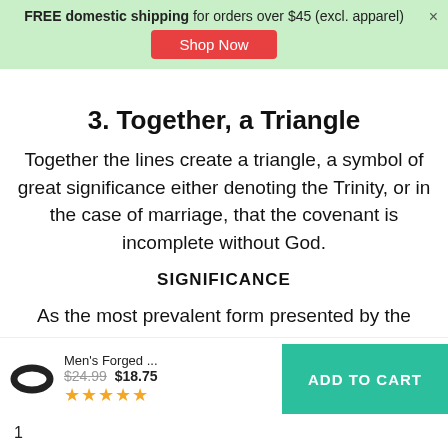FREE domestic shipping for orders over $45 (excl. apparel) Shop Now
3. Together, a Triangle
Together the lines create a triangle, a symbol of great significance either denoting the Trinity, or in the case of marriage, that the covenant is incomplete without God.
SIGNIFICANCE
As the most prevalent form presented by the FIERCE
their lives.
1